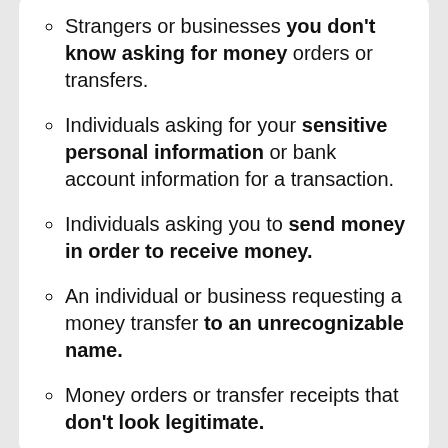Strangers or businesses you don't know asking for money orders or transfers.
Individuals asking for your sensitive personal information or bank account information for a transaction.
Individuals asking you to send money in order to receive money.
An individual or business requesting a money transfer to an unrecognizable name.
Money orders or transfer receipts that don't look legitimate.